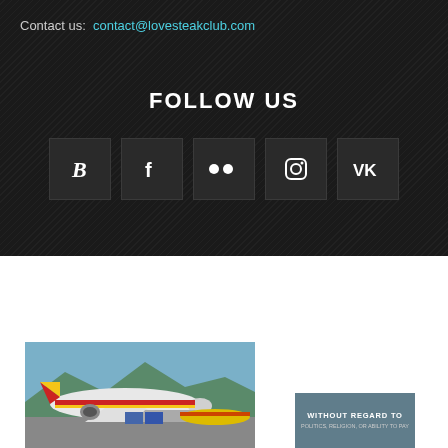Contact us: contact@lovesteakclub.com
FOLLOW US
[Figure (other): Row of five social media icon buttons: Blogger (B), Facebook (f), Flickr (••), Instagram (camera), VK (VK) — white icons on dark square backgrounds]
[Figure (photo): Advertisement banner showing a cargo airplane being loaded on tarmac with red/yellow livery, alongside a grey text box reading WITHOUT REGARD TO (with additional small text below)]